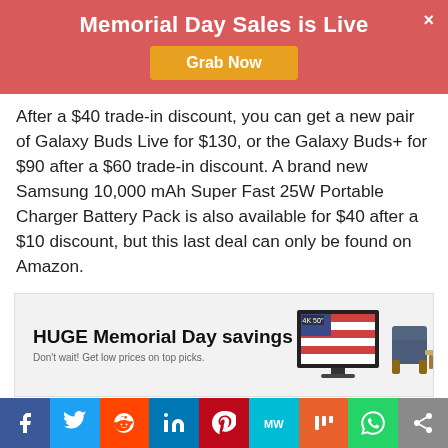Memorial Day Sales is Live
Grab Now
After a $40 trade-in discount, you can get a new pair of Galaxy Buds Live for $130, or the Galaxy Buds+ for $90 after a $60 trade-in discount. A brand new Samsung 10,000 mAh Super Fast 25W Portable Charger Battery Pack is also available for $40 after a $10 discount, but this last deal can only be found on Amazon.
[Figure (infographic): Advertisement banner showing HUGE Memorial Day savings with TV and outdoor furniture images]
[Figure (infographic): Social media sharing bar with Facebook, Twitter, Reddit, LinkedIn, Pinterest, MeWe, Mix, WhatsApp, and share buttons]